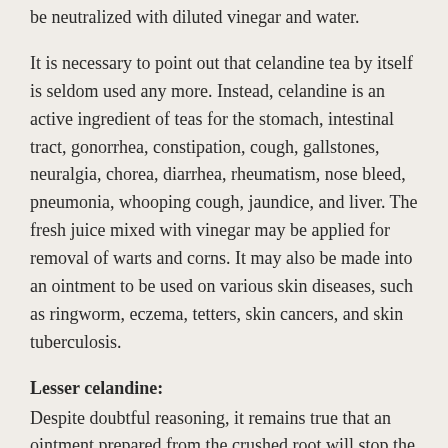be neutralized with diluted vinegar and water.
It is necessary to point out that celandine tea by itself is seldom used any more. Instead, celandine is an active ingredient of teas for the stomach, intestinal tract, gonorrhea, constipation, cough, gallstones, neuralgia, chorea, diarrhea, rheumatism, nose bleed, pneumonia, whooping cough, jaundice, and liver. The fresh juice mixed with vinegar may be applied for removal of warts and corns. It may also be made into an ointment to be used on various skin diseases, such as ringworm, eczema, tetters, skin cancers, and skin tuberculosis.
Lesser celandine:
Despite doubtful reasoning, it remains true that an ointment prepared from the crushed root will stop the discomfort from piles. For extra benefit, add stonecrop (Sedum album) or toadflax to the ointment